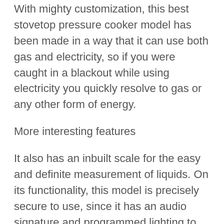With mighty customization, this best stovetop pressure cooker model has been made in a way that it can use both gas and electricity, so if you were caught in a blackout while using electricity you quickly resolve to gas or any other form of energy.
More interesting features
It also has an inbuilt scale for the easy and definite measurement of liquids. On its functionality, this model is precisely secure to use, since it has an audio signature and programmed lighting to ensure that it notifies you when it's safe to use. For instance when it goes green and an audible click is heard it means it is safe for engagement, and when it is at red, it means that using it can be a little